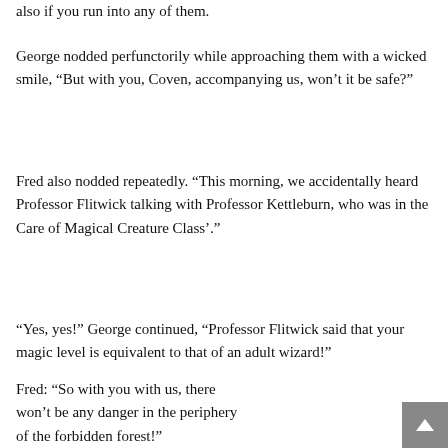also if you run into any of them.
George nodded perfunctorily while approaching them with a wicked smile, “But with you, Coven, accompanying us, won’t it be safe?”
Fred also nodded repeatedly. “This morning, we accidentally heard Professor Flitwick talking with Professor Kettleburn, who was in the Care of Magical Creature Class’.”
“Yes, yes!” George continued, “Professor Flitwick said that your magic level is equivalent to that of an adult wizard!”
Fred: “So with you with us, there won’t be any danger in the periphery of the forbidden forest!”